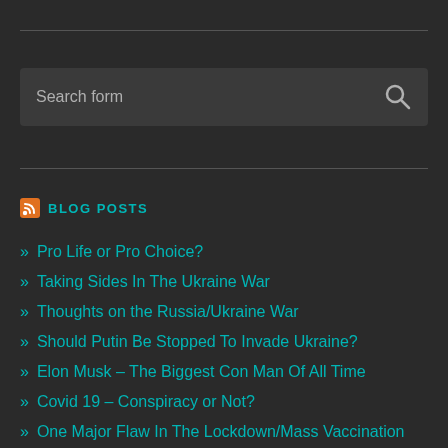[Figure (other): Search form input box with magnifying glass icon on dark background]
BLOG POSTS
Pro Life or Pro Choice?
Taking Sides In The Ukraine War
Thoughts on the Russia/Ukraine War
Should Putin Be Stopped To Invade Ukraine?
Elon Musk – The Biggest Con Man Of All Time
Covid 19 – Conspiracy or Not?
One Major Flaw In The Lockdown/Mass Vaccination